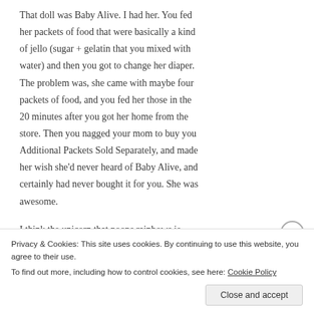That doll was Baby Alive. I had her. You fed her packets of food that were basically a kind of jello (sugar + gelatin that you mixed with water) and then you got to change her diaper. The problem was, she came with maybe four packets of food, and you fed her those in the 20 minutes after you got her home from the store. Then you nagged your mom to buy you Additional Packets Sold Separately, and made her wish she'd never heard of Baby Alive, and certainly had never bought it for you. She was awesome.
I think the unicorn that poops rainbows is
Privacy & Cookies: This site uses cookies. By continuing to use this website, you agree to their use.
To find out more, including how to control cookies, see here: Cookie Policy
Close and accept